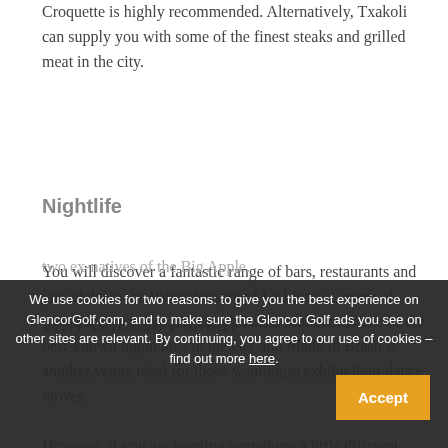Croquette is highly recommended. Alternatively, Txakoli can supply you with some of the finest steaks and grilled meat in the city.
Nightlife
You will discover a fantastic range of bars, restaurants and jazz clubs in the Palma hotspot of La Llonja – many of which are open late. Discoteca Pacha Mallorca is one of the best-known nightclubs in the city and Made In Brasil is another venue ideal for those wanting to exhibit their dance moves.
However, if you are wanting something a little different, then treat yourself to a New-York style cocktail at Aqua Bar & Lounge – a intimate, shadowy saloon operated by two ex-natives of the Big Apple.
Why Choose Palma?
Whether you're looking for a quiet golfing break, or a
We use cookies for two reasons: to give you the best experience on GlencorGolf.com, and to make sure the Glencor Golf ads you see on other sites are relevant. By continuing, you agree to our use of cookies – find out more here.